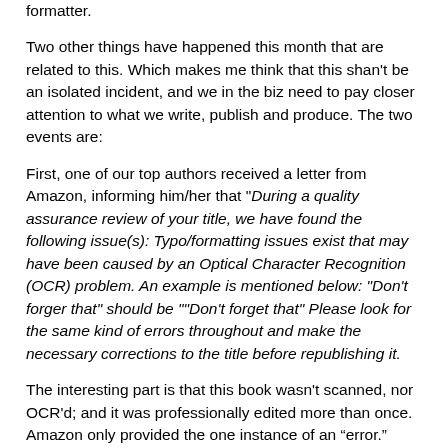formatter.
Two other things have happened this month that are related to this. Which makes me think that this shan't be an isolated incident, and we in the biz need to pay closer attention to what we write, publish and produce. The two events are:
First, one of our top authors received a letter from Amazon, informing him/her that "During a quality assurance review of your title, we have found the following issue(s): Typo/formatting issues exist that may have been caused by an Optical Character Recognition (OCR) problem. An example is mentioned below: "Don't forger that" should be ""Don't forget that" Please look for the same kind of errors throughout and make the necessary corrections to the title before republishing it.
The interesting part is that this book wasn't scanned, nor OCR'd; and it was professionally edited more than once. Amazon only provided the one instance of an “error.”
Another client, having crafted some rather unique content,